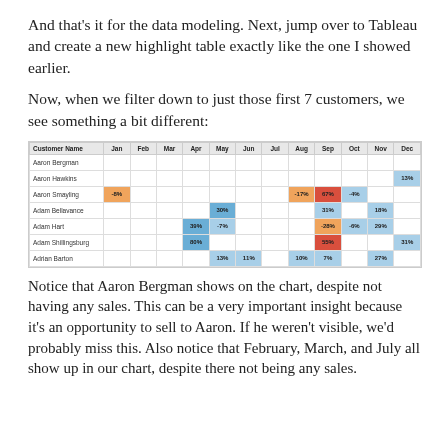And that’s it for the data modeling. Next, jump over to Tableau and create a new highlight table exactly like the one I showed earlier.
Now, when we filter down to just those first 7 customers, we see something a bit different:
[Figure (table-as-image): Tableau highlight table showing 7 customers (Aaron Bergman, Aaron Hawkins, Aaron Smayling, Adam Bellavance, Adam Hart, Adam Shillingsburg, Adrian Barton) with colored cells for months Jan-Dec showing percentage values. Colored cells include orange for negative, blue for positive, red for high positive values.]
Notice that Aaron Bergman shows on the chart, despite not having any sales. This can be a very important insight because it’s an opportunity to sell to Aaron. If he weren’t visible, we’d probably miss this. Also notice that February, March, and July all show up in our chart, despite there not being any sales.